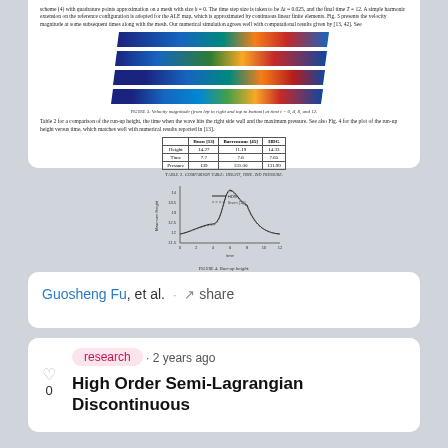scheme (4) with quadrature points approximation on a mesh with size h = 0. The time step size is taken to be Δt = 0.025, and the final time T = 12. A simple harmonic extension on the reference configuration is adopted for the ALE map, which is approximated by continuous linear finite elements. Fig. 3 presents the velocity magnitude at some subsequent times along with the mesh. Our numerical simulation agrees well with computational results given by [13, 42]. See
[Figure (other): Four horizontal color maps (blue to red heatmaps) showing velocity magnitude at different times on a mesh, arranged vertically.]
Figure 3. Velocity magnitude (from left to right and top to bottom) at time t = 0, 4, 8, and 12.
Table 2 for a comparison of the run-up height, the time when the wave hits the right side wall and the maximum pressure. See also Fig. 4 for the plot of the run-up height versus time, which matches well with numerical results reported in [13].
|  | Ibsen [13] | Barrencane [45] | HDG |
| --- | --- | --- | --- |
| Height | 14.27 | 11.19 | 14.33 |
| Time | 7.7 | 7.6 | 7.65 |
| Pressure | 139 | 131.00 | 131.99 |
Table 2. Comparison table: height, time and pressure.
[Figure (line-chart): Run-up height]
Figure 4. Run-up height.
Guosheng Fu, et al. · share
research · 2 years ago
High Order Semi-Lagrangian Discontinuous